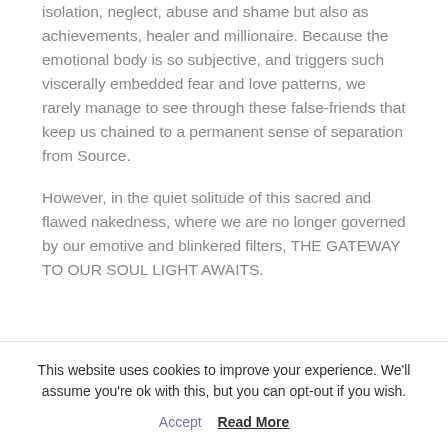isolation, neglect, abuse and shame but also as achievements, healer and millionaire. Because the emotional body is so subjective, and triggers such viscerally embedded fear and love patterns, we rarely manage to see through these false-friends that keep us chained to a permanent sense of separation from Source.

However, in the quiet solitude of this sacred and flawed nakedness, where we are no longer governed by our emotive and blinkered filters, THE GATEWAY TO OUR SOUL LIGHT AWAITS.
This website uses cookies to improve your experience. We'll assume you're ok with this, but you can opt-out if you wish.
Accept   Read More